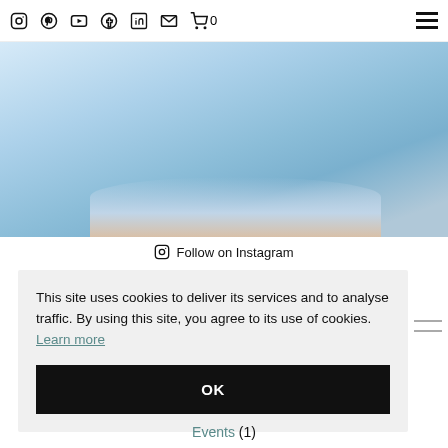Social media icons navigation bar with Instagram, Pinterest, YouTube, Facebook, LinkedIn, Email, Cart (0), and hamburger menu
[Figure (photo): Close-up photo of a person wearing a light blue ribbed knit sweater, torso view with hands at waist]
Follow on Instagram
This site uses cookies to deliver its services and to analyse traffic. By using this site, you agree to its use of cookies. Learn more
OK
Events (1)